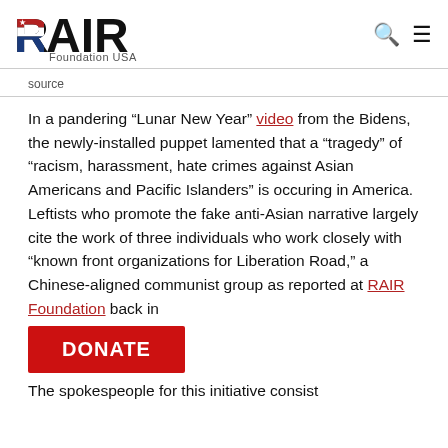RAIR Foundation USA
source
In a pandering “Lunar New Year” video from the Bidens, the newly-installed puppet lamented that a “tragedy” of “racism, harassment, hate crimes against Asian Americans and Pacific Islanders” is occuring in America. Leftists who promote the fake anti-Asian narrative largely cite the work of three individuals who work closely with “known front organizations for Liberation Road,” a Chinese-aligned communist group as reported at RAIR Foundation back in
The spokespeople for this initiative consist